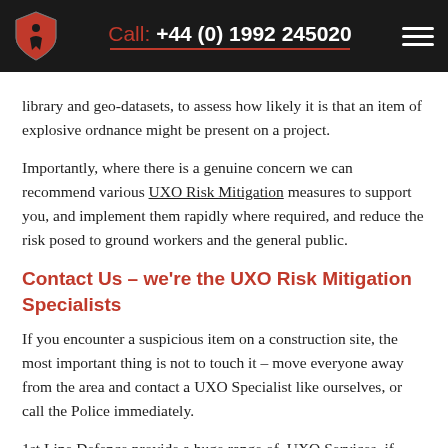Call: +44 (0) 1992 245020
library and geo-datasets, to assess how likely it is that an item of explosive ordnance might be present on a project.
Importantly, where there is a genuine concern we can recommend various UXO Risk Mitigation measures to support you, and implement them rapidly where required, and reduce the risk posed to ground workers and the general public.
Contact Us – we're the UXO Risk Mitigation Specialists
If you encounter a suspicious item on a construction site, the most important thing is not to touch it – move everyone away from the area and contact a UXO Specialist like ourselves, or call the Police immediately.
1st Line Defence provide a huge range of UXO Services, if